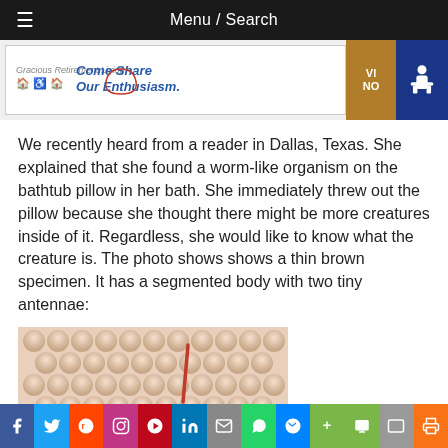Menu / Search
[Figure (photo): Advertisement banner for Gracious Retirement Living with tagline 'Come Share Our Enthusiasm.' and accessibility icon]
We recently heard from a reader in Dallas, Texas. She explained that she found a worm-like organism on the bathtub pillow in her bath. She immediately threw out the pillow because she thought there might be more creatures inside of it. Regardless, she would like to know what the creature is. The photo shows shows a thin brown specimen. It has a segmented body with two tiny antennae:
[Figure (photo): Close-up photo of an egg-crate foam pillow texture with a thin brown worm-like specimen visible]
Social share bar: Facebook, Twitter, Reddit, Instagram, Pinterest, LinkedIn, Email, WhatsApp, Messenger, Evernote, SMS, Mail, Print